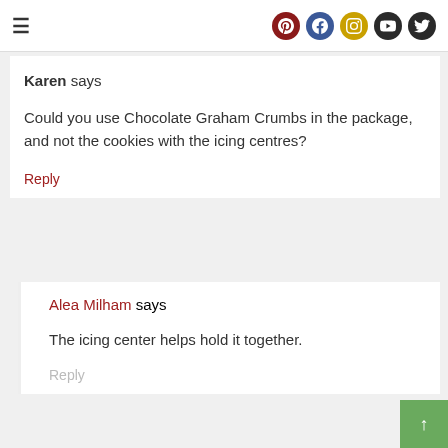≡ [social icons: Pinterest, Facebook, Instagram, YouTube, Twitter]
Karen says
Could you use Chocolate Graham Crumbs in the package, and not the cookies with the icing centres?
Reply
Alea Milham says
The icing center helps hold it together.
Reply